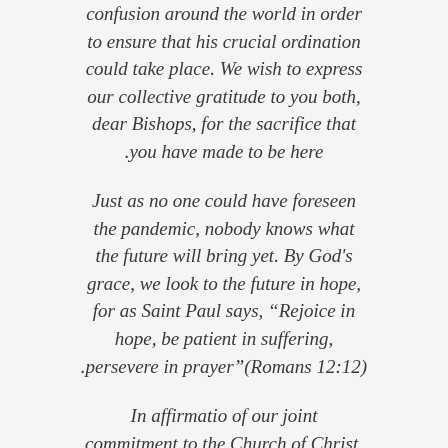confusion around the world in order to ensure that his crucial ordination could take place. We wish to express our collective gratitude to you both, dear Bishops, for the sacrifice that you have made to be here.
Just as no one could have foreseen the pandemic, nobody knows what the future will bring yet. By God's grace, we look to the future in hope, for as Saint Paul says, “Rejoice in hope, be patient in suffering, persevere in prayer”(Romans 12:12).
In affirmatio of our joint commitment to the Church of Christ, and most specifically to the